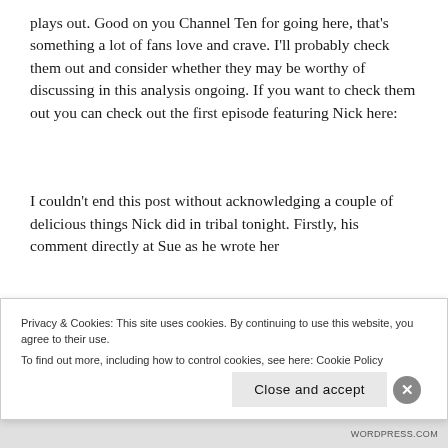plays out. Good on you Channel Ten for going here, that's something a lot of fans love and crave. I'll probably check them out and consider whether they may be worthy of discussing in this analysis ongoing. If you want to check them out you can check out the first episode featuring Nick here:
I couldn't end this post without acknowledging a couple of delicious things Nick did in tribal tonight. Firstly, his comment directly at Sue as he wrote her
Privacy & Cookies: This site uses cookies. By continuing to use this website, you agree to their use.
To find out more, including how to control cookies, see here: Cookie Policy
Close and accept
WORDPRESS.COM